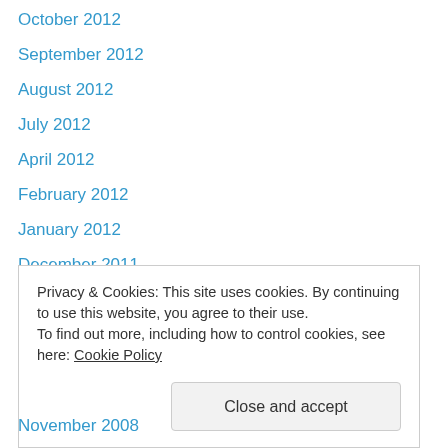October 2012
September 2012
August 2012
July 2012
April 2012
February 2012
January 2012
December 2011
October 2011
September 2011
July 2011
June 2011
May 2011
April 2011
Privacy & Cookies: This site uses cookies. By continuing to use this website, you agree to their use. To find out more, including how to control cookies, see here: Cookie Policy
November 2008